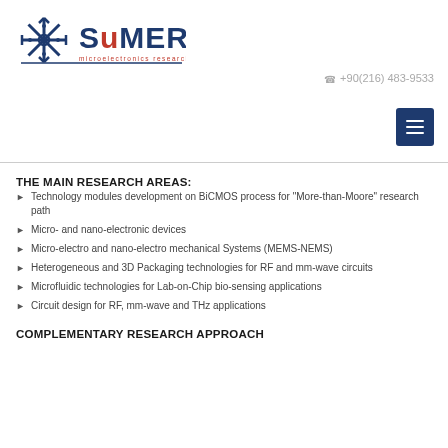[Figure (logo): SUMER microelectronics research group logo with snowflake/asterisk icon in dark blue and red text]
☎ +90(216) 483-9533
THE MAIN RESEARCH AREAS:
Technology modules development on BiCMOS process for "More-than-Moore" research path
Micro- and nano-electronic devices
Micro-electro and nano-electro mechanical Systems (MEMS-NEMS)
Heterogeneous and 3D Packaging technologies for RF and mm-wave circuits
Microfluidic technologies for Lab-on-Chip bio-sensing applications
Circuit design for RF, mm-wave and THz applications
COMPLEMENTARY RESEARCH APPROACH